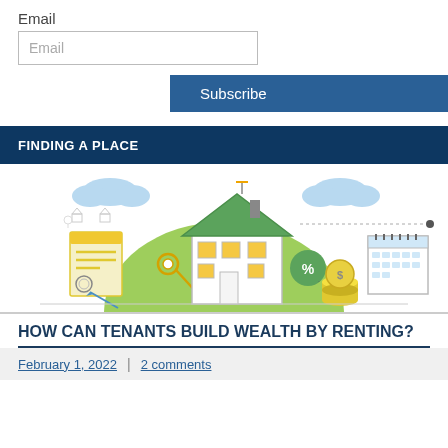Email
Email
Subscribe
FINDING A PLACE
[Figure (illustration): Illustration of a house with rental-related icons: a document with yellow highlights, keys, coins with dollar signs, a percentage symbol, a calendar, and light bulb icons with small house shapes in the background. Clouds are visible in the upper area.]
HOW CAN TENANTS BUILD WEALTH BY RENTING?
February 1, 2022  |  2 comments